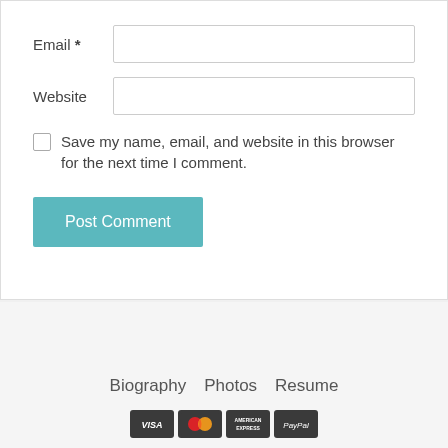Email *
Website
Save my name, email, and website in this browser for the next time I comment.
Post Comment
Biography   Photos   Resume
[Figure (other): Payment icons: VISA, MasterCard, American Express, PayPal]